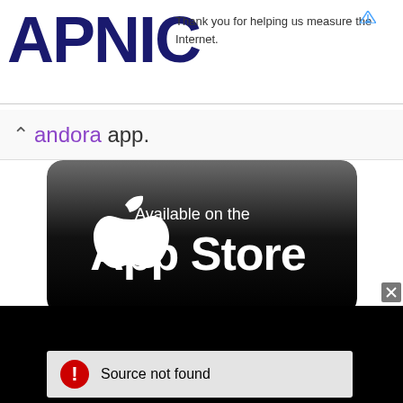[Figure (logo): APNIC logo in dark navy bold text]
Thank you for helping us measure the Internet.
andora app.
[Figure (screenshot): App Store badge - Available on the App Store with Apple logo on dark rounded rectangle background]
[Figure (screenshot): Black video player area showing Source not found error with red exclamation circle icon]